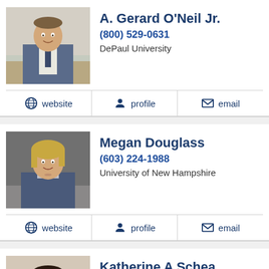A. Gerard O'Neil Jr.
(800) 529-0631
DePaul University
website | profile | email
Megan Douglass
(603) 224-1988
University of New Hampshire
website | profile | email
Katherine A Schea
(603) 945-8388
Vermont Law School and Charlotte School of Law
website | profile | email